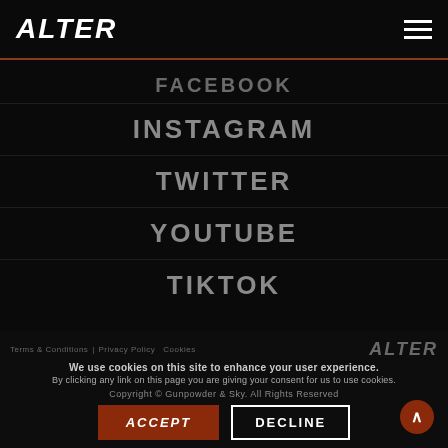ALTER
FACEBOOK
INSTAGRAM
TWITTER
YOUTUBE
TIKTOK
Terms & Conditions | Privacy Policy  Cookies  ALTER
We use cookies on this site to enhance your user experience.
By clicking any link on this page you are giving your consent for us to use cookies.
Copyright © Gunpowder & Sky. All Rights Reserved
ACCEPT   DECLINE